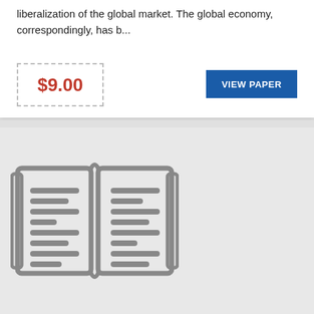liberalization of the global market. The global economy, correspondingly, has b...
$9.00
VIEW PAPER
[Figure (illustration): Open book icon with text lines illustrated in gray on a light gray background]